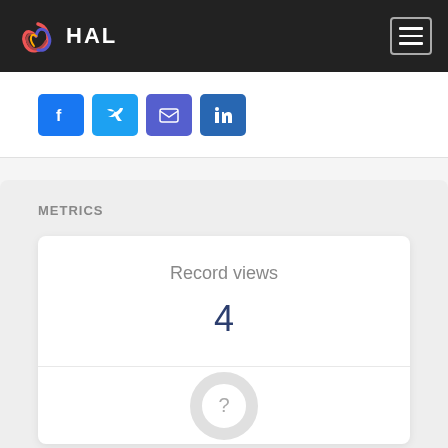HAL
[Figure (other): Social sharing buttons: Facebook, Twitter, Email, LinkedIn]
METRICS
Record views
4
[Figure (donut-chart): Donut chart with question mark, data not available]